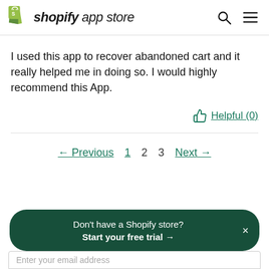shopify app store
I used this app to recover abandoned cart and it really helped me in doing so. I would highly recommend this App.
Helpful (0)
← Previous  1  2  3  Next →
Don't have a Shopify store? Start your free trial →
Enter your email address